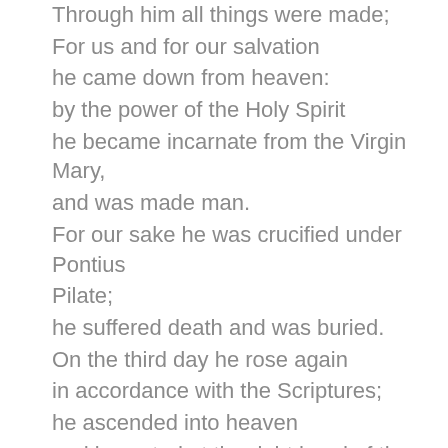Through him all things were made;
For us and for our salvation
he came down from heaven:
by the power of the Holy Spirit
he became incarnate from the Virgin Mary,
and was made man.
For our sake he was crucified under Pontius Pilate;
he suffered death and was buried.
On the third day he rose again
in accordance with the Scriptures;
he ascended into heaven
and is seated at the right hand of the Father.
He will come again in glory to judge the living
and the dead,
and his kingdom will have no end.